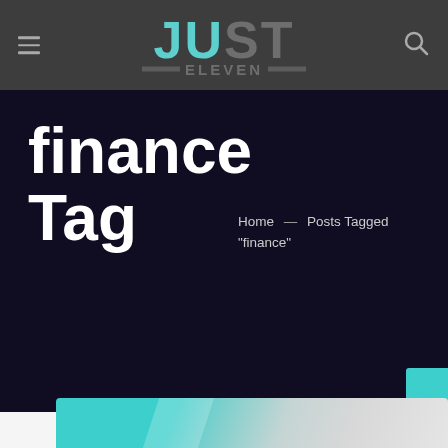JUST ELEVEN — navigation header with hamburger menu and search icon
finance Tag
Home — Posts Tagged "finance"
[Figure (photo): Partial teal and grey graphic/image strip visible at bottom of page]